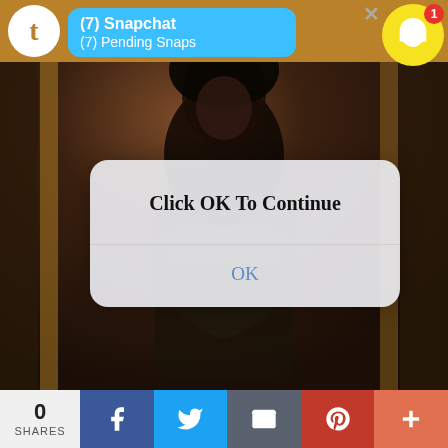[Figure (screenshot): Screenshot of a mobile phone screen showing a Tumblr app with a Snapchat notification banner reading '(7) Snapchat / (7) Pending Snaps', a dark moody background photo of a woman, and an iOS-style dialog box overlay saying 'Click OK To Continue' with an OK button. Bottom shows a social share bar with 0 shares, Facebook, Twitter, Email, Pinterest, and More buttons.]
(7) Snapchat
(7) Pending Snaps
Click OK To Continue
OK
0
SHARES